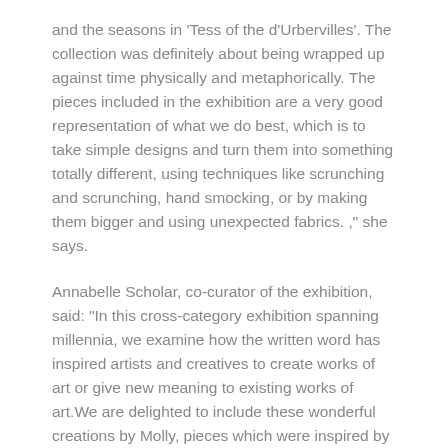and the seasons in 'Tess of the d'Urbervilles'. The collection was definitely about being wrapped up against time physically and metaphorically. The pieces included in the exhibition are a very good representation of what we do best, which is to take simple designs and turn them into something totally different, using techniques like scrunching and scrunching, hand smocking, or by making them bigger and using unexpected fabrics. ," she says.
Annabelle Scholar, co-curator of the exhibition, said: "In this cross-category exhibition spanning millennia, we examine how the written word has inspired artists and creatives to create works of art or give new meaning to existing works of art.We are delighted to include these wonderful creations by Molly, pieces which were inspired by a work of literature and ushered in a new era of British fashion.
Related Posts: